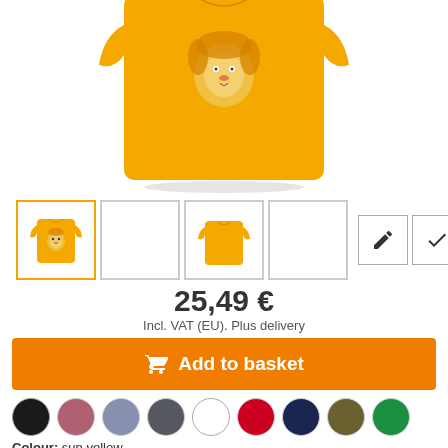[Figure (photo): Yellow t-shirt product image shown from front, partially cropped at top]
[Figure (photo): Thumbnail row showing 4 product image thumbnails (first active with orange border showing t-shirt with lion print, second empty, third showing plain yellow t-shirt, fourth empty) plus edit pencil icon and checkmark icon]
25,49 €
Incl. VAT (EU). Plus delivery
Add to basket
[Figure (illustration): Row of colour swatches: black, dusty rose/mauve, slate blue, dark grey, white, red, navy, olive/khaki, green]
Colour: sun yellow
S  M  L  XL  XXL  2XL  4XL  5